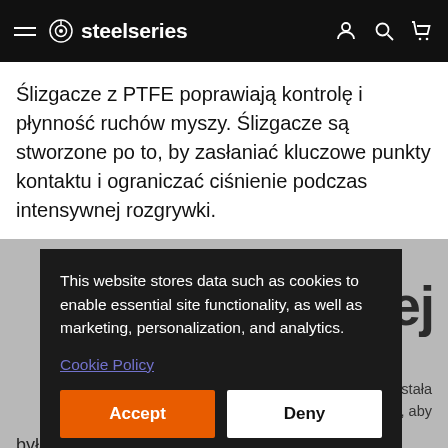steelseries
Ślizgacze z PTFE poprawiają kontrolę i płynność ruchów myszy. Ślizgacze są stworzone po to, by zasłaniać kluczowe punkty kontaktu i ograniczać ciśnienie podczas intensywnej rozgrywki.
[Figure (screenshot): Cookie consent overlay on steelseries.com: dark box with text 'This website stores data such as cookies to enable essential site functionality, as well as marketing, personalization, and analytics.' with Cookie Policy link and Accept/Deny buttons. Behind the overlay, a gray background section with partial large Polish text '...żdej' and small text '...stała ...k, aby była o 9% lżejsza i miała mniejszy profil' is visible.]